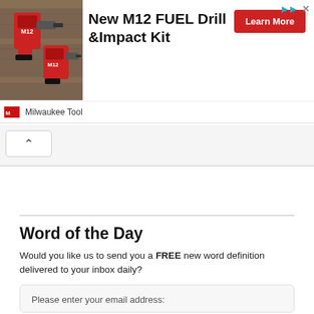[Figure (screenshot): Advertisement banner for Milwaukee Tool New M12 FUEL Drill & Impact Kit with a photo of tools, Learn More button, and Milwaukee Tool logo]
New M12 FUEL Drill &Impact Kit
Milwaukee Tool
[Figure (other): Tab/collapse button with upward chevron arrow]
Word of the Day
Would you like us to send you a FREE new word definition delivered to your inbox daily?
Please enter your email address: